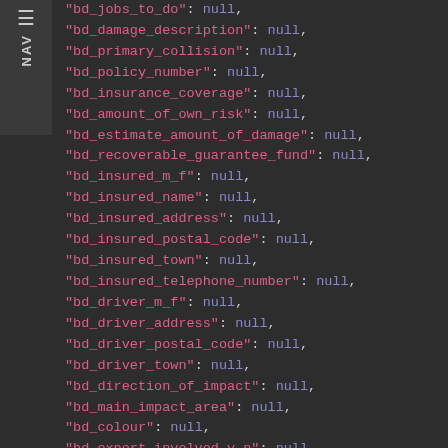[Figure (screenshot): Dark-themed code editor showing a JSON snippet with null values for insurance/vehicle damage fields. A NAV sidebar is visible on the left.]
"bd_jobs_to_do": null,
"bd_damage_description": null,
"bd_primary_collision": null,
"bd_policy_number": null,
"bd_insurance_coverage": null,
"bd_amount_of_own_risk": null,
"bd_estimate_amount_of_damage": null,
"bd_recoverable_guarantee_fund": null,
"bd_insured_m_f": null,
"bd_insured_name": null,
"bd_insured_address": null,
"bd_insured_postal_code": null,
"bd_insured_town": null,
"bd_insured_telephone_number": null,
"bd_driver_m_f": null,
"bd_driver_address": null,
"bd_driver_postal_code": null,
"bd_driver_town": null,
"bd_direction_of_impact": null,
"bd_main_impact_area": null,
"bd_colour": null,
"bd_expert_involved_y_n": null,
"bd_model_year": null,
"bd_date_part1": null,
"bd_date_part2": null,
"bd_damage_category_loss_commerce": ...